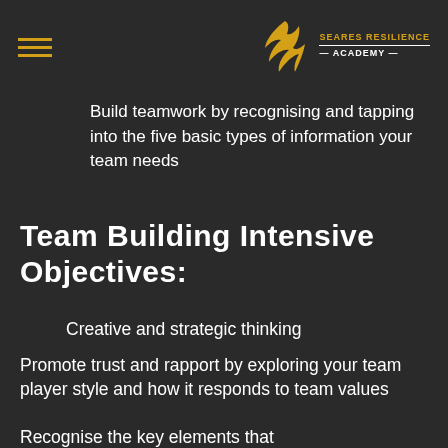Seares Resilience Academy
Build teamwork by recognising and tapping into the five basic types of information your team needs
Team Building Intensive Objectives:
Creative and strategic thinking
Promote trust and rapport by exploring your team player style and how it responds to team values
Recognise the key elements that